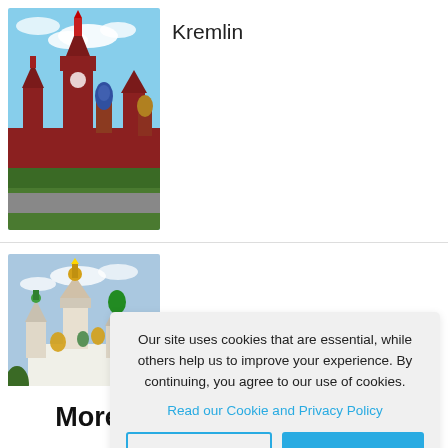[Figure (photo): Photo of the Moscow Kremlin with red brick towers and St. Basil's Cathedral visible, blue sky with clouds, green trees in foreground]
Kremlin
[Figure (photo): Photo of Novodevichy Convent reflected in a pond, golden domes and white walls visible, trees around]
Novodevichy Convent
Our site uses cookies that are essential, while others help us to improve your experience. By continuing, you agree to our use of cookies.
Read our Cookie and Privacy Policy
Dismiss
Got it!
More popular destinations